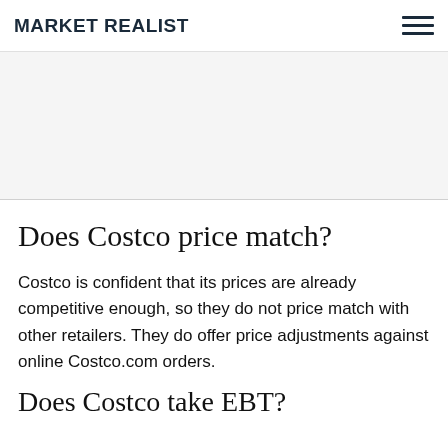MARKET REALIST
[Figure (other): Advertisement / gray placeholder area]
Does Costco price match?
Costco is confident that its prices are already competitive enough, so they do not price match with other retailers. They do offer price adjustments against online Costco.com orders.
Does Costco take EBT?